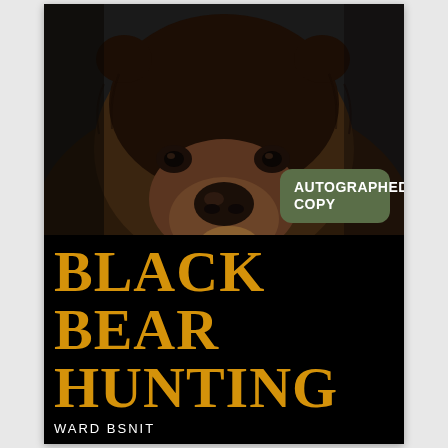[Figure (photo): Close-up photograph of a black bear face, brown fur, dark eyes, prominent nose, looking directly at camera against a green foliage background]
AUTOGRAPHED COPY
BLACK BEAR HUNTING
WARD BSNIT